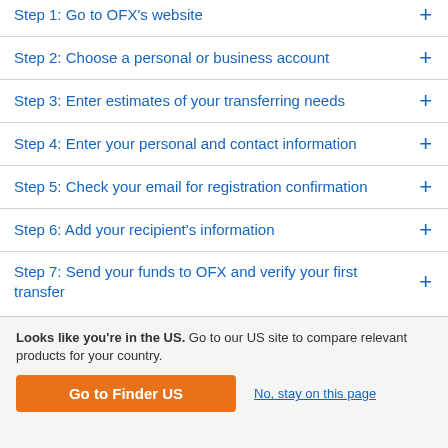Step 1: Go to OFX's website
Step 2: Choose a personal or business account
Step 3: Enter estimates of your transferring needs
Step 4: Enter your personal and contact information
Step 5: Check your email for registration confirmation
Step 6: Add your recipient's information
Step 7: Send your funds to OFX and verify your first transfer
Looks like you're in the US. Go to our US site to compare relevant products for your country.
Go to Finder US
No, stay on this page